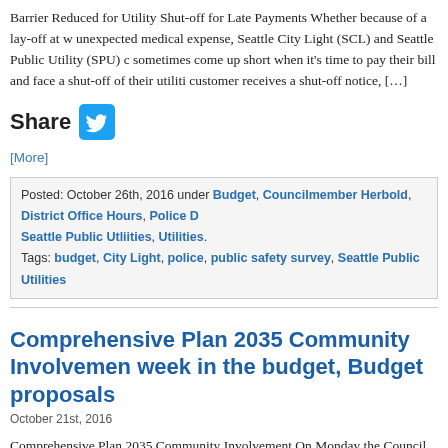Barrier Reduced for Utility Shut-off for Late Payments Whether because of a lay-off at w unexpected medical expense, Seattle City Light (SCL) and Seattle Public Utility (SPU) c sometimes come up short when it's time to pay their bill and face a shut-off of their utiliti customer receives a shut-off notice, […]
[Figure (logo): Share label with Twitter bird icon button]
[More]
Posted: October 26th, 2016 under Budget, Councilmember Herbold, District Office Hours, Police D Seattle Public Utliities, Utilities.
Tags: budget, City Light, police, public safety survey, Seattle Public Utilities
Comprehensive Plan 2035 Community Involvemen week in the budget, Budget proposals
October 21st, 2016
Comprehensive Plan 2035 Community Involvement On Monday the Council approved th Comprehensive Plan update. In committee, the Council approved amendments I sponsore Seattle Public Utilities, Arts, Economic Development and Growth, and then this week in amendments I sponsored to the Community Involvement element were also approved. I w neighborhood […]